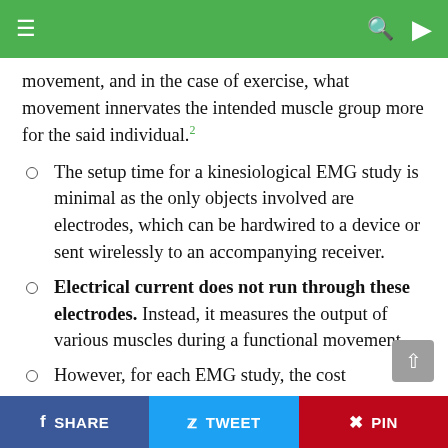Navigation bar with menu, search, and theme toggle icons
movement, and in the case of exercise, what movement innervates the intended muscle group more for the said individual.²
The setup time for a kinesiological EMG study is minimal as the only objects involved are electrodes, which can be hardwired to a device or sent wirelessly to an accompanying receiver.
Electrical current does not run through these electrodes. Instead, it measures the output of various muscles during a functional movement.
However, for each EMG study, the cost associated could be in from the mid-hundred-
SHARE   TWEET   PIN